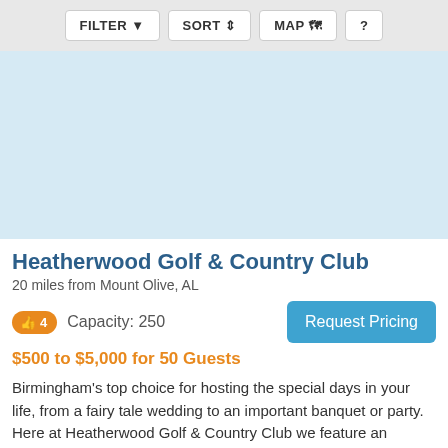FILTER  SORT  MAP  ?
[Figure (map): Light blue map area placeholder]
Heatherwood Golf & Country Club
20 miles from Mount Olive, AL
👍 4   Capacity: 250
Request Pricing
$500 to $5,000 for 50 Guests
Birmingham's top choice for hosting the special days in your life, from a fairy tale wedding to an important banquet or party. Here at Heatherwood Golf & Country Club we feature an eloquent